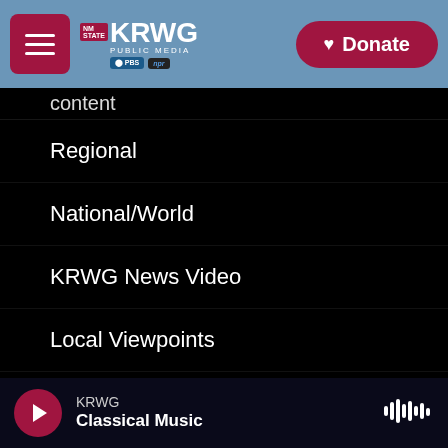[Figure (screenshot): KRWG Public Media website header with navigation menu button, KRWG logo with PBS and NPR badges, and a Donate button on a blue-grey background]
Regional
National/World
KRWG News Video
Local Viewpoints
Business
Health
Sports
Weather
KRWG Classical Music